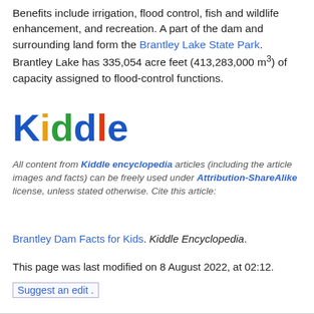Benefits include irrigation, flood control, fish and wildlife enhancement, and recreation. A part of the dam and surrounding land form the Brantley Lake State Park. Brantley Lake has 335,054 acre feet (413,283,000 m³) of capacity assigned to flood-control functions.
[Figure (logo): Kiddle encyclopedia logo with colorful letters: K in blue, i in yellow, d in green, d in blue, l in red, e in blue]
All content from Kiddle encyclopedia articles (including the article images and facts) can be freely used under Attribution-ShareAlike license, unless stated otherwise. Cite this article:
Brantley Dam Facts for Kids. Kiddle Encyclopedia.
This page was last modified on 8 August 2022, at 02:12.
Suggest an edit.